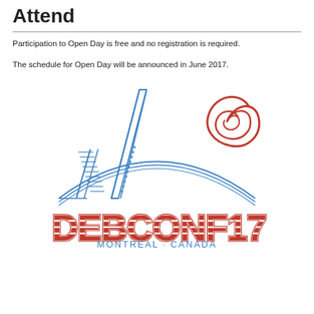Attend
Participation to Open Day is free and no registration is required.
The schedule for Open Day will be announced in June 2017.
[Figure (logo): DebConf17 Montreal Canada logo featuring the Montreal Olympic Stadium tower in blue line art and the Debian swirl in red, with DEBCONF17 text in large red striped letters and MONTRÉAL · CANADA in blue below.]